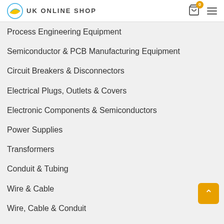UK ONLINE SHOP
Process Engineering Equipment
Semiconductor & PCB Manufacturing Equipment
Circuit Breakers & Disconnectors
Electrical Plugs, Outlets & Covers
Electronic Components & Semiconductors
Power Supplies
Transformers
Conduit & Tubing
Wire & Cable
Wire, Cable & Conduit
Information
Home